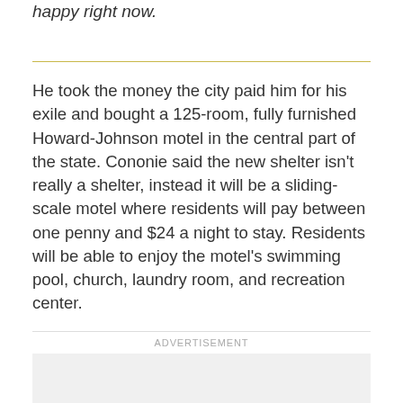happy right now.
He took the money the city paid him for his exile and bought a 125-room, fully furnished Howard-Johnson motel in the central part of the state. Cononie said the new shelter isn't really a shelter, instead it will be a sliding-scale motel where residents will pay between one penny and $24 a night to stay. Residents will be able to enjoy the motel's swimming pool, church, laundry room, and recreation center.
ADVERTISEMENT